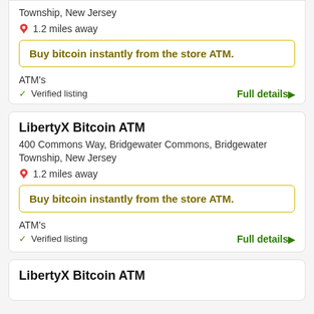Township, New Jersey
📍 1.2 miles away
Buy bitcoin instantly from the store ATM.
ATM's
✓ Verified listing
Full details ▶
LibertyX Bitcoin ATM
400 Commons Way, Bridgewater Commons, Bridgewater Township, New Jersey
📍 1.2 miles away
Buy bitcoin instantly from the store ATM.
ATM's
✓ Verified listing
Full details ▶
LibertyX Bitcoin ATM